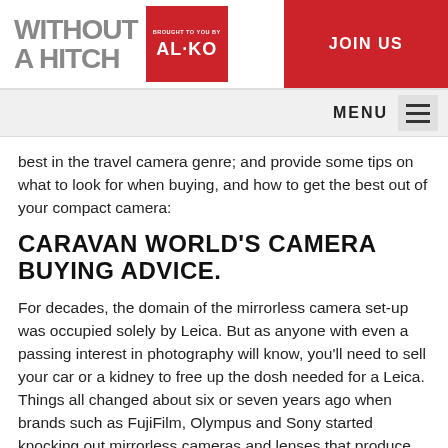WITHOUT A HITCH — Brought to you by AL-KO — JOIN US
best in the travel camera genre; and provide some tips on what to look for when buying, and how to get the best out of your compact camera:
CARAVAN WORLD'S CAMERA BUYING ADVICE.
For decades, the domain of the mirrorless camera set-up was occupied solely by Leica. But as anyone with even a passing interest in photography will know, you'll need to sell your car or a kidney to free up the dosh needed for a Leica. Things all changed about six or seven years ago when brands such as FujiFilm, Olympus and Sony started knocking out mirrorless cameras and lenses that produce professional results that, as an added bonus, keep you off public transport and let you